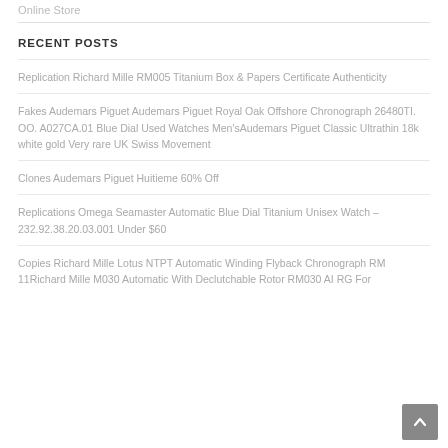Online Store
RECENT POSTS
Replication Richard Mille RM005 Titanium Box & Papers Certificate Authenticity
Fakes Audemars Piguet Audemars Piguet Royal Oak Offshore Chronograph 26480TI. OO. A027CA.01 Blue Dial Used Watches Men’sAudemars Piguet Classic Ultrathin 18k white gold Very rare UK Swiss Movement
Clones Audemars Piguet Huitieme 60% Off
Replications Omega Seamaster Automatic Blue Dial Titanium Unisex Watch – 232.92.38.20.03.001 Under $60
Copies Richard Mille Lotus NTPT Automatic Winding Flyback Chronograph RM 11Richard Mille M030 Automatic With Declutchable Rotor RM030 AI RG For